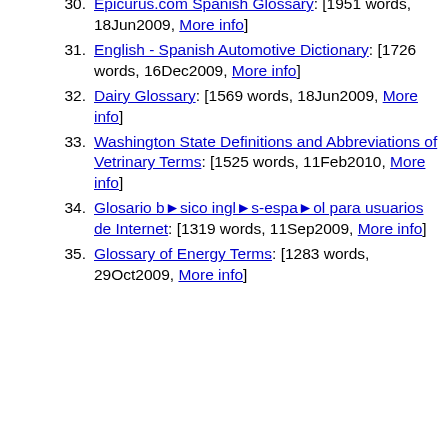30. Epicurus.com Spanish Glossary: [1951 words, 18Jun2009, More info]
31. English - Spanish Automotive Dictionary: [1726 words, 16Dec2009, More info]
32. Dairy Glossary: [1569 words, 18Jun2009, More info]
33. Washington State Definitions and Abbreviations of Vetrinary Terms: [1525 words, 11Feb2010, More info]
34. Glosario básico inglés-español para usuarios de Internet: [1319 words, 11Sep2009, More info]
35. Glossary of Energy Terms: [1283 words, 29Oct2009, More info]